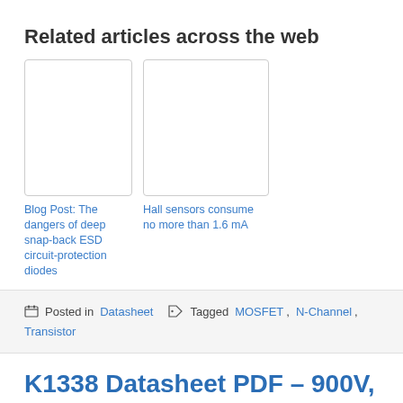Related articles across the web
[Figure (other): Thumbnail image placeholder for blog post about ESD circuit-protection diodes]
Blog Post: The dangers of deep snap-back ESD circuit-protection diodes
[Figure (other): Thumbnail image placeholder for article about Hall sensors]
Hall sensors consume no more than 1.6 mA
Posted in Datasheet   Tagged MOSFET, N-Channel, Transistor
K1338 Datasheet PDF – 900V, 2A,